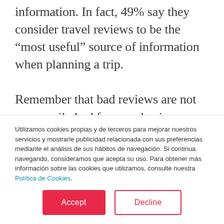information. In fact, 49% say they consider travel reviews to be the “most useful” source of information when planning a trip.
Remember that bad reviews are not necessarily bad for your business–arguably, they can be positive (to a certain
Utilizamos cookies propias y de terceros para mejorar nuestros servicios y mostrarle publicidad relacionada con sus preferencias mediante el análisis de sus hábitos de navegación. Si continua navegando, consideramos que acepta su uso. Para obtener más información sobre las cookies que utilizamos, consulte nuestra Política de Cookies.